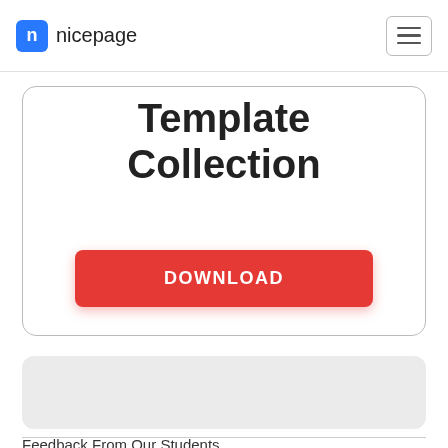nicepage
Template Collection
DOWNLOAD
[Figure (other): Gray placeholder rectangle card]
Feedback From Our Students